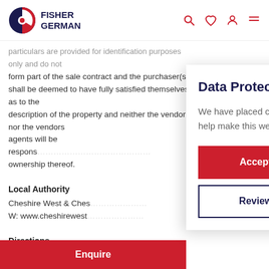[Figure (logo): Fisher German logo with red and white circle icon and dark navy text]
particulars are provided for identification purposes only and do not form part of the sale contract and the purchaser(s) shall be deemed to have fully satisfied themselves as to the description of the property and neither the vendor nor the vendors agents will be responsible for ownership thereof.
Local Authority
Cheshire West & Ches...
W: www.cheshirewest...
Directions
From Davenham villag... church on your left an... After a short distance...
Data Protection Law
We have placed cookies on your device to help make this website better.
Accept Cookies
Review Cookies
Enquire